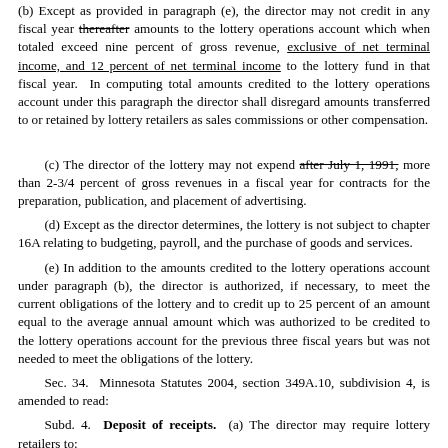(b) Except as provided in paragraph (e), the director may not credit in any fiscal year thereafter amounts to the lottery operations account which when totaled exceed nine percent of gross revenue, exclusive of net terminal income, and 12 percent of net terminal income to the lottery fund in that fiscal year. In computing total amounts credited to the lottery operations account under this paragraph the director shall disregard amounts transferred to or retained by lottery retailers as sales commissions or other compensation.
(c) The director of the lottery may not expend after July 1, 1991, more than 2-3/4 percent of gross revenues in a fiscal year for contracts for the preparation, publication, and placement of advertising.
(d) Except as the director determines, the lottery is not subject to chapter 16A relating to budgeting, payroll, and the purchase of goods and services.
(e) In addition to the amounts credited to the lottery operations account under paragraph (b), the director is authorized, if necessary, to meet the current obligations of the lottery and to credit up to 25 percent of an amount equal to the average annual amount which was authorized to be credited to the lottery operations account for the previous three fiscal years but was not needed to meet the obligations of the lottery.
Sec. 34. Minnesota Statutes 2004, section 349A.10, subdivision 4, is amended to read:
Subd. 4. Deposit of receipts. (a) The director may require lottery retailers to: